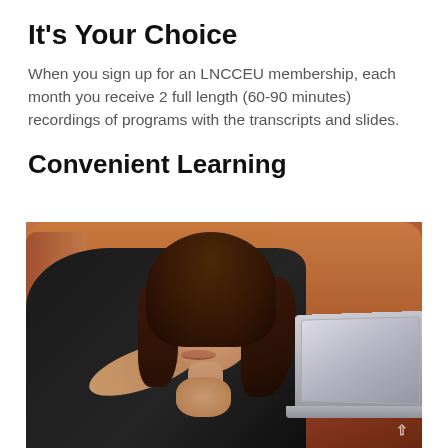It’s Your Choice
When you sign up for an LNCCEU membership, each month you receive 2 full length (60-90 minutes) recordings of programs with the transcripts and slides.
Convenient Learning
[Figure (photo): A young woman with dark curly hair, wearing a black top, lying on a brown leather sofa, smiling and using a laptop computer.]